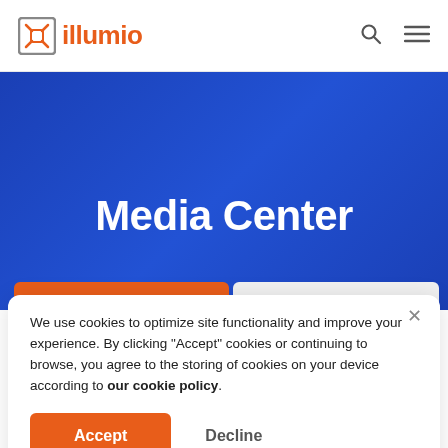illumio
Media Center
We use cookies to optimize site functionality and improve your experience. By clicking "Accept" cookies or continuing to browse, you agree to the storing of cookies on your device according to our cookie policy.